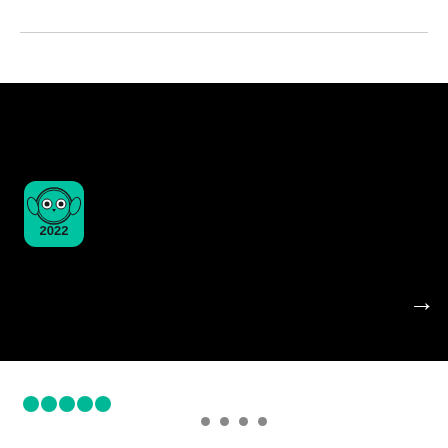[Figure (screenshot): Black carousel image area with a TripAdvisor 2022 Travelers' Choice badge in the top-left corner, a white right arrow navigation button on the right side, a photo count icon showing 3373, and five carousel navigation dots at the bottom (first dot white/active, rest gray).]
3373
[Figure (other): Five green filled circle icons representing a 5-star rating on TripAdvisor]